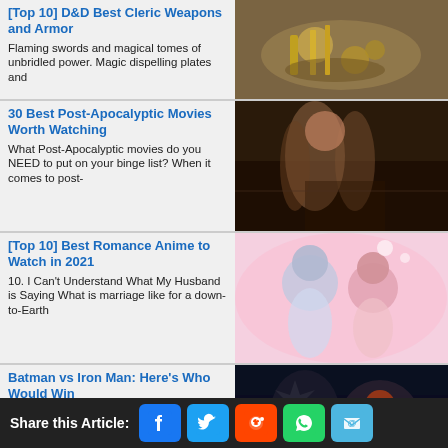[Top 10] D&D Best Cleric Weapons and Armor — Flaming swords and magical tomes of unbridled power. Magic dispelling plates and
[Figure (photo): Pile of fantasy weapons and gold coins]
30 Best Post-Apocalyptic Movies Worth Watching — What Post-Apocalyptic movies do you NEED to put on your binge list? When it comes to post-
[Figure (photo): Post-apocalyptic scene with people dancing or fighting]
[Top 10] Best Romance Anime to Watch in 2021 — 10. I Can't Understand What My Husband is Saying What is marriage like for a down-to-Earth
[Figure (photo): Anime romance scene with two characters]
Batman vs Iron Man: Here's Who Would Win — Can the World's Greatest Detective defeat the World's
[Figure (photo): Batman and Iron Man confrontation scene]
Share this Article: